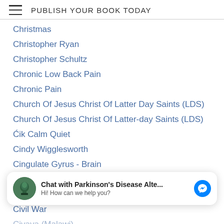PUBLISH YOUR BOOK TODAY
Christmas
Christopher Ryan
Christopher Schultz
Chronic Low Back Pain
Chronic Pain
Church Of Jesus Christ Of Latter Day Saints (LDS)
Church Of Jesus Christ Of Latter-day Saints (LDS)
Ćik Calm Quiet
Cindy Wigglesworth
Cingulate Gyrus - Brain
Circadian Rhythms
Citrus
Civil War
Civaya (Malawi)
Chat with Parkinson's Disease Alte...
Hi! How can we help you?
Claudia Piccinno (Italy)